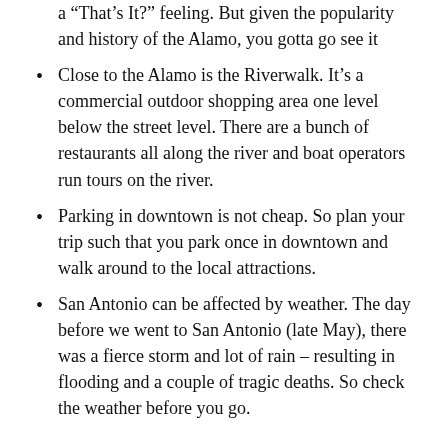a “That’s It?” feeling. But given the popularity and history of the Alamo, you gotta go see it
Close to the Alamo is the Riverwalk. It’s a commercial outdoor shopping area one level below the street level. There are a bunch of restaurants all along the river and boat operators run tours on the river.
Parking in downtown is not cheap. So plan your trip such that you park once in downtown and walk around to the local attractions.
San Antonio can be affected by weather. The day before we went to San Antonio (late May), there was a fierce storm and lot of rain – resulting in flooding and a couple of tragic deaths. So check the weather before you go.
To-dos for next time